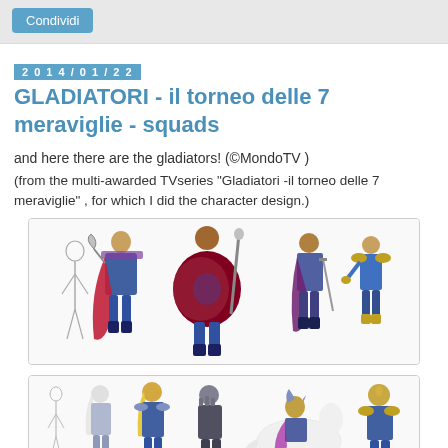Condividi
2014/01/22
GLADIATORI - il torneo delle 7 meraviglie - squads
and here there are the gladiators! (©MondoTV )
(from the multi-awarded TVseries "Gladiatori -il torneo delle 7 meraviglie" , for which I did the character design.)
[Figure (illustration): Five gladiator character designs from the animated TV series - one sketch/outline character and four colored characters with armor, capes, weapons and shields]
[Figure (illustration): More gladiator character designs from the animated TV series including characters in white/blue armor, a character on a white horse, and armored warriors]